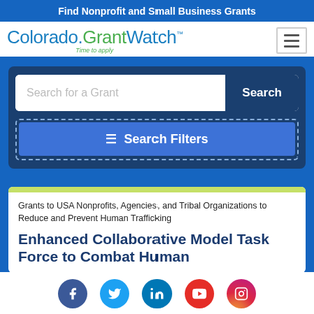Find Nonprofit and Small Business Grants
[Figure (logo): Colorado.GrantWatch logo with tagline 'Time to apply']
Search for a Grant
Search Filters
Grants to USA Nonprofits, Agencies, and Tribal Organizations to Reduce and Prevent Human Trafficking
Enhanced Collaborative Model Task Force to Combat Human...
[Figure (other): Social media icons row: Facebook, Twitter, LinkedIn, YouTube, Instagram]